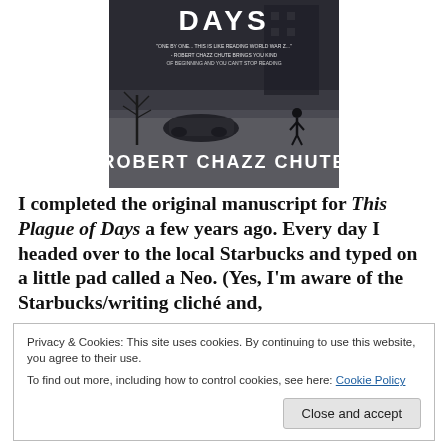[Figure (illustration): Book cover of 'This Plague of Days' by Robert Chazz Chute. Dark moody image showing a desolate winter landscape with a crashed or overturned car and a lone figure walking. White text reads 'DAYS' at top and 'ROBERT CHAZZ CHUTE' at bottom.]
I completed the original manuscript for This Plague of Days a few years ago. Every day I headed over to the local Starbucks and typed on a little pad called a Neo. (Yes, I'm aware of the Starbucks/writing cliché and,
Privacy & Cookies: This site uses cookies. By continuing to use this website, you agree to their use.
To find out more, including how to control cookies, see here: Cookie Policy
[Close and accept]
they existed at that time. Now, between check